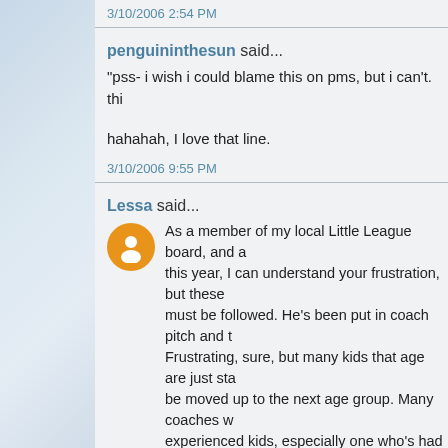3/10/2006 2:54 PM
penguininthesun said...
"pss- i wish i could blame this on pms, but i can't. thi
hahahah, I love that line.
3/10/2006 9:55 PM
Lessa said...
As a member of my local Little League board, and a this year, I can understand your frustration, but these must be followed. He's been put in coach pitch and t Frustrating, sure, but many kids that age are just sta be moved up to the next age group. Many coaches w experienced kids, especially one who's had the train
Though he will have to adjust and slide feet first. The simply have to get used to in Little League. It's a saf